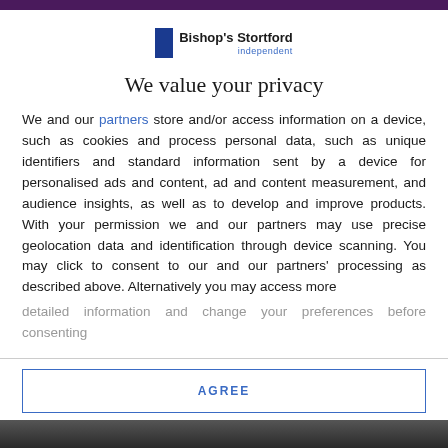[Figure (logo): Bishop's Stortford Independent logo — blue rectangle with text 'Bishop's Stortford' and 'independent' below]
We value your privacy
We and our partners store and/or access information on a device, such as cookies and process personal data, such as unique identifiers and standard information sent by a device for personalised ads and content, ad and content measurement, and audience insights, as well as to develop and improve products. With your permission we and our partners may use precise geolocation data and identification through device scanning. You may click to consent to our and our partners' processing as described above. Alternatively you may access more detailed information and change your preferences before consenting
AGREE
MORE OPTIONS